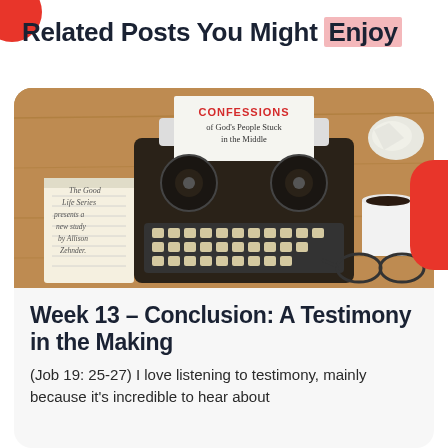Related Posts You Might Enjoy
[Figure (photo): Overhead view of a vintage typewriter on a wooden desk with a page reading 'CONFESSIONS of God's People Stuck in the Middle', a crumpled paper ball, a cup of coffee, reading glasses, and a notepad with handwritten text 'The Good Life Series presents a new study by Allison Zehnder.']
Week 13 – Conclusion: A Testimony in the Making
(Job 19: 25-27) I love listening to testimony, mainly because it's incredible to hear about